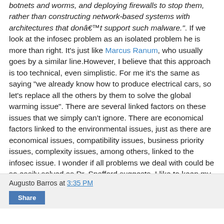botnets and worms, and deploying firewalls to stop them, rather than constructing network-based systems with architectures that donâ€™t support such malware.". If we look at the infosec problem as an isolated problem he is more than right. It's just like Marcus Ranum, who usually goes by a similar line.However, I believe that this approach is too technical, even simplistic. For me it's the same as saying "we already know how to produce electrical cars, so let's replace all the others by them to solve the global warming issue". There are several linked factors on these issues that we simply can't ignore. There are economical factors linked to the environmental issues, just as there are economical issues, compatibility issues, business priority issues, complexity issues, among others, linked to the infosec issue. I wonder if all problems we deal with could be so easily solved as Dr. Spafford suggests. I like to keep my mind open to "out of the box" solutions, but we can't just ignore all the linked matters when talking about security.
Augusto Barros at 3:35 PM
Share